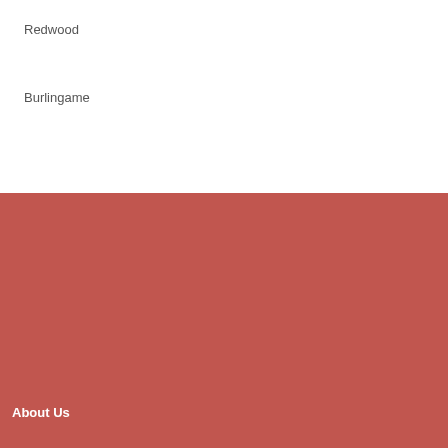Redwood
Burlingame
About Us
Contact Us
Privacy Policy
Terms and Conditions
Third party advertisements support hosting, listing verification, updates, and site maintenance. Information found on hvac-companies.net is strictly for informational purposes and does not construe advice or recommendation.
© 2022 hvac-companies.net. All Rights Reserved.
hvac-companies.net